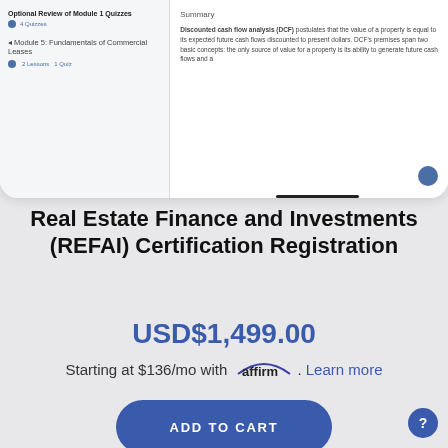[Figure (screenshot): Tablet screenshot showing a course interface with module navigation on left and lesson summary on right. Left panel shows 'Optional Review of Module 1 Quizzes' and 'Module 5: Fundamentals of Commercial Leases'. Right panel shows a Summary section with text about Discounted cash flow analysis (DCF).]
Real Estate Finance and Investments (REFAI) Certification Registration
USD$1,499.00
Starting at $136/mo with affirm. Learn more
ADD TO CART